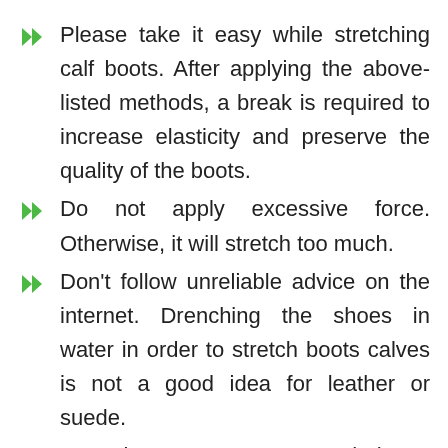Please take it easy while stretching calf boots. After applying the above-listed methods, a break is required to increase elasticity and preserve the quality of the boots.
Do not apply excessive force. Otherwise, it will stretch too much.
Don't follow unreliable advice on the internet. Drenching the shoes in water in order to stretch boots calves is not a good idea for leather or suede.
Be patient as not to overstretch them.